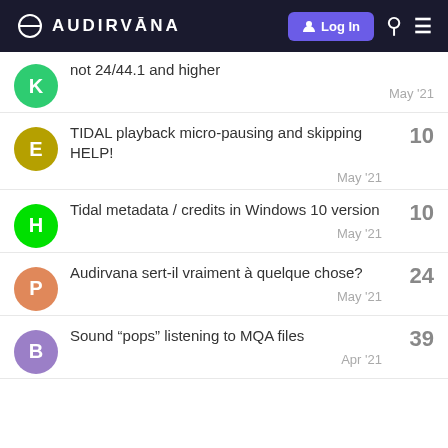AUDIRVĀNA — Log In
not 24/44.1 and higher — May '21
TIDAL playback micro-pausing and skipping HELP! — 10 — May '21
Tidal metadata / credits in Windows 10 version — 10 — May '21
Audirvana sert-il vraiment à quelque chose? — 24 — May '21
Sound “pops” listening to MQA files — 39 — Apr '21